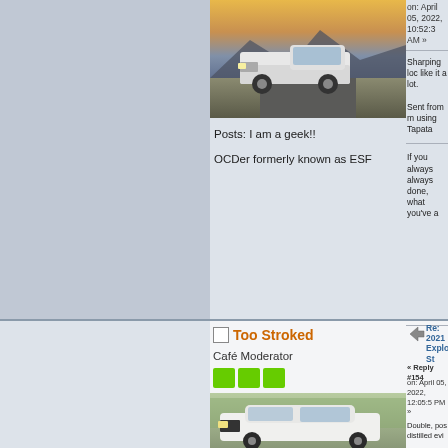[Figure (photo): White pickup truck (Ford F-Series) parked on a road with mountains in the background at dusk]
Posts: I am a geek!!
OCDer formerly known as ESF
on: April 05, 2022, 10:52:3 AM »
Sharping loc like it a lot.
Sent from m using Tapata
If you always always done, what you've a
Too Stroked
Café Moderator
Re: 2021 Explorer ST
« Reply #154 on: April 05, 2022, 12:05:5 PM »
Double, pos distilled evi
[Figure (photo): White Toyota 4Runner SUV parked outdoors with trees in background]